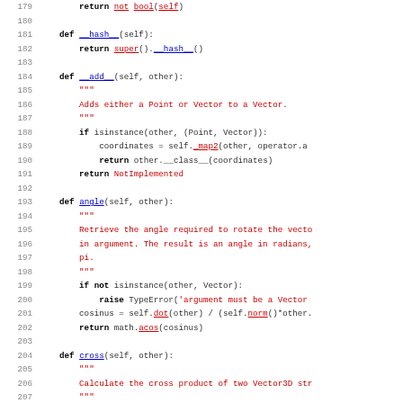[Figure (screenshot): Python source code listing showing class methods: __hash__, __add__, angle, and cross. Line numbers 179-211 visible. Code uses syntax highlighting with blue for method/function names, red for strings and docstrings, bold black for keywords.]